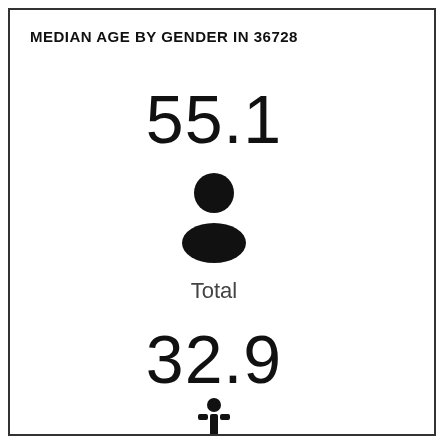MEDIAN AGE BY GENDER IN 36728
55.1
[Figure (infographic): Person silhouette icon (total/gender-neutral)]
Total
32.9
[Figure (infographic): Male person icon (stick figure)]